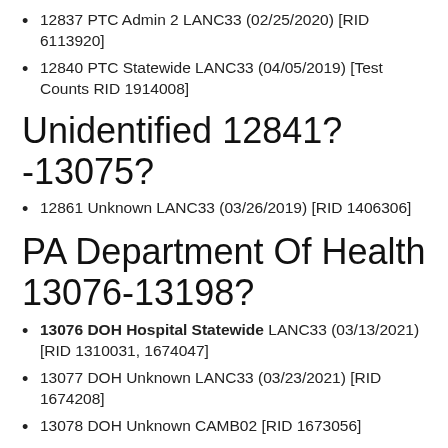12837 PTC Admin 2 LANC33 (02/25/2020) [RID 6113920]
12840 PTC Statewide LANC33 (04/05/2019) [Test Counts RID 1914008]
Unidentified 12841? -13075?
12861 Unknown LANC33 (03/26/2019) [RID 1406306]
PA Department Of Health 13076-13198?
13076 DOH Hospital Statewide LANC33 (03/13/2021) [RID 1310031, 1674047]
13077 DOH Unknown LANC33 (03/23/2021) [RID 1674208]
13078 DOH Unknown CAMB02 [RID 1673056]